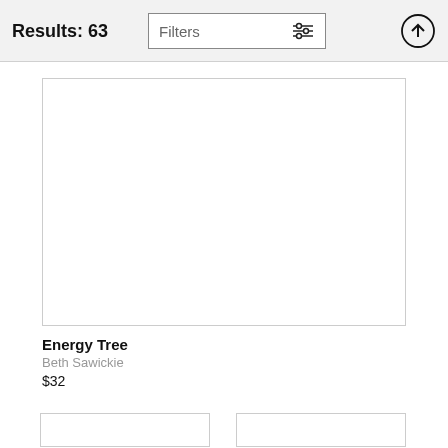Results: 63
Filters
[Figure (illustration): Large white product image card with border]
Energy Tree
Beth Sawickkie
$32
[Figure (illustration): Small white product image card with border (left)]
[Figure (illustration): Small white product image card with border (right)]